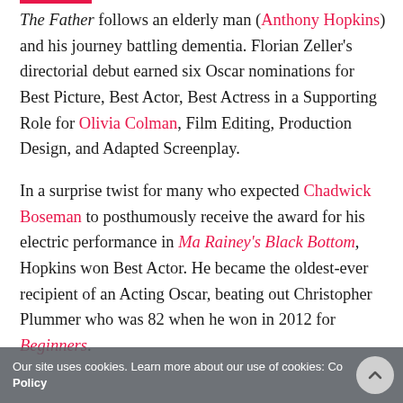The Father follows an elderly man (Anthony Hopkins) and his journey battling dementia. Florian Zeller's directorial debut earned six Oscar nominations for Best Picture, Best Actor, Best Actress in a Supporting Role for Olivia Colman, Film Editing, Production Design, and Adapted Screenplay.
In a surprise twist for many who expected Chadwick Boseman to posthumously receive the award for his electric performance in Ma Rainey's Black Bottom, Hopkins won Best Actor. He became the oldest-ever recipient of an Acting Oscar, beating out Christopher Plummer who was 82 when he won in 2012 for Beginners.
Our site uses cookies. Learn more about our use of cookies: Cookie Policy